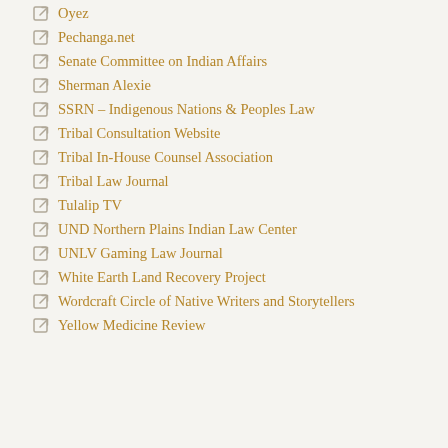Oyez
Pechanga.net
Senate Committee on Indian Affairs
Sherman Alexie
SSRN – Indigenous Nations & Peoples Law
Tribal Consultation Website
Tribal In-House Counsel Association
Tribal Law Journal
Tulalip TV
UND Northern Plains Indian Law Center
UNLV Gaming Law Journal
White Earth Land Recovery Project
Wordcraft Circle of Native Writers and Storytellers
Yellow Medicine Review